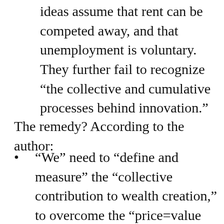ideas assume that rent can be competed away, and that unemployment is voluntary. They further fail to recognize “the collective and cumulative processes behind innovation.”
The remedy? According to the author:
“We” need to “define and measure” the “collective contribution to wealth creation,” to overcome the “price=value thinking…” and recognize that most of the “…creation of value is collective.”